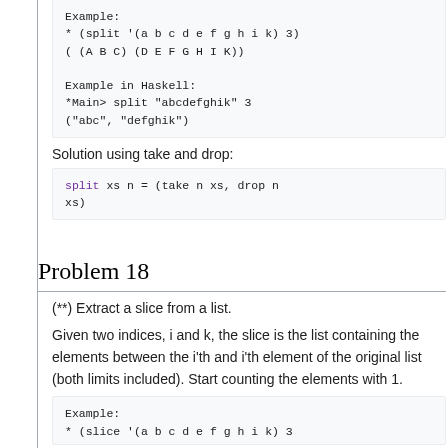Example:
* (split '(a b c d e f g h i k) 3)
( (A B C) (D E F G H I K))
Example in Haskell:
*Main> split "abcdefghik" 3
("abc", "defghik")
Solution using take and drop:
split xs n = (take n xs, drop n xs)
Problem 18
(**) Extract a slice from a list.
Given two indices, i and k, the slice is the list containing the elements between the i'th and i'th element of the original list (both limits included). Start counting the elements with 1.
Example:
* (slice '(a b c d e f g h i k) 3 7)